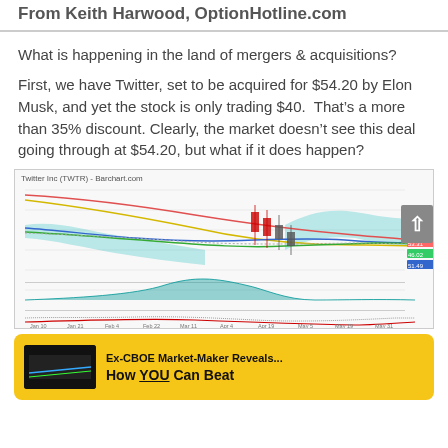From Keith Harwood, OptionHotline.com
What is happening in the land of mergers & acquisitions?
First, we have Twitter, set to be acquired for $54.20 by Elon Musk, and yet the stock is only trading $40. That’s a more than 35% discount. Clearly, the market doesn’t see this deal going through at $54.20, but what if it does happen?
[Figure (continuous-plot): Twitter Inc (TWTR) Barchart.com stock chart showing price movement from January to May with multiple moving average lines (red, yellow, blue, green), candlestick data in April, teal shaded Bollinger Band regions, volume indicator below, and technical indicators at bottom. Price labels on right side show values around 50-53 range. Time axis spans Jan 10 to May 21.]
Ex-CBOE Market-Maker Reveals...
How YOU Can Beat